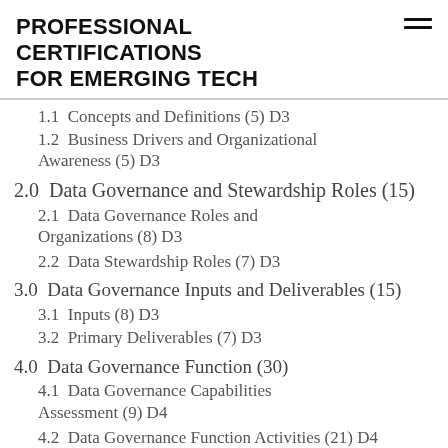PROFESSIONAL CERTIFICATIONS FOR EMERGING TECH
1.1  Concepts and Definitions (5) D3
1.2  Business Drivers and Organizational Awareness (5) D3
2.0  Data Governance and Stewardship Roles (15)
2.1  Data Governance Roles and Organizations (8) D3
2.2  Data Stewardship Roles (7) D3
3.0  Data Governance Inputs and Deliverables (15)
3.1  Inputs (8) D3
3.2  Primary Deliverables (7) D3
4.0  Data Governance Function (30)
4.1  Data Governance Capabilities Assessment (9) D4
4.2  Data Governance Function Activities (21) D4